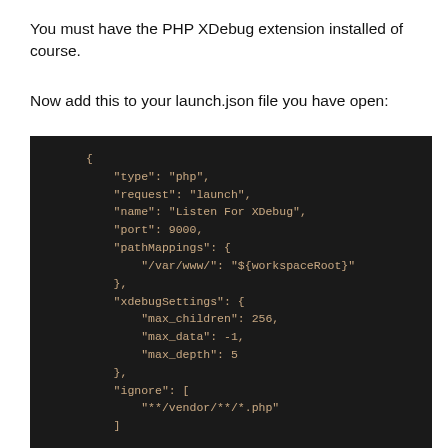You must have the PHP XDebug extension installed of course.
Now add this to your launch.json file you have open:
[Figure (screenshot): Dark-themed code editor screenshot showing a JSON configuration block for PHP XDebug with fields: type, request, name, port, pathMappings, xdebugSettings (max_children, max_data, max_depth), and ignore.]